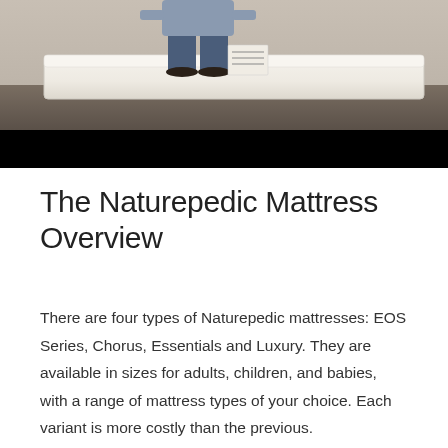[Figure (photo): A person sitting on a mattress; photo with a black bar at the bottom]
The Naturepedic Mattress Overview
There are four types of Naturepedic mattresses: EOS Series, Chorus, Essentials and Luxury. They are available in sizes for adults, children, and babies, with a range of mattress types of your choice. Each variant is more costly than the previous.
This is because the brand uses 100% natural cotton and chemical-free material. Naturepedic uses non-GMO elements and food-grade waterproof surfaces.